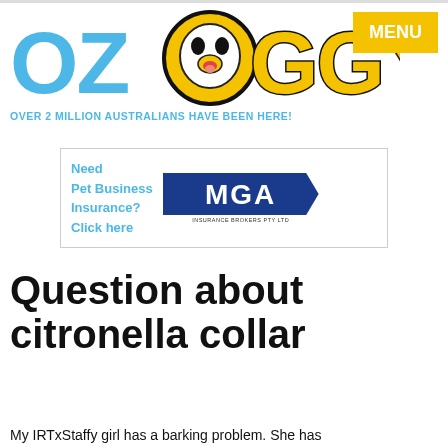[Figure (logo): OzDoggy website logo with colorful letters OZ in blue, DOGGY in yellow/black with a dog face replacing the O, and a MENU button in yellow top right]
OVER 2 MILLION AUSTRALIANS HAVE BEEN HERE!
[Figure (other): MGA Insurance Brokers advertisement banner reading: Need Pet Business Insurance? Click here, with MGA logo in blue parallelogram shape]
Question about citronella collar
My IRTxStaffy girl has a barking problem. She has